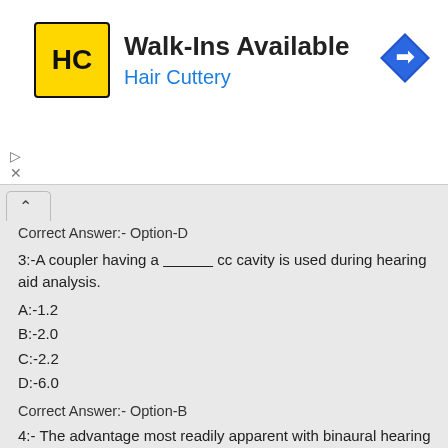[Figure (logo): Hair Cuttery advertisement banner with HC logo in yellow square, text 'Walk-Ins Available' and 'Hair Cuttery' in blue, blue diamond arrow icon on right]
Correct Answer:- Option-D
3:-A coupler having a ____________ cc cavity is used during hearing aid analysis.
A:-1.2
B:-2.0
C:-2.2
D:-6.0
Correct Answer:- Option-B
4:- The advantage most readily apparent with binaural hearing